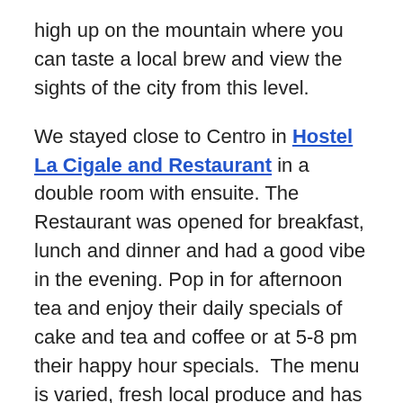high up on the mountain where you can taste a local brew and view the sights of the city from this level.
We stayed close to Centro in Hostel La Cigale and Restaurant in a double room with ensuite. The Restaurant was opened for breakfast, lunch and dinner and had a good vibe in the evening. Pop in for afternoon tea and enjoy their daily specials of cake and tea and coffee or at 5-8 pm their happy hour specials.  The menu is varied, fresh local produce and has vegetarian options.  It is a good sign when the restaurant fills up with locals at, 6 pm and it can be difficult to get a table.